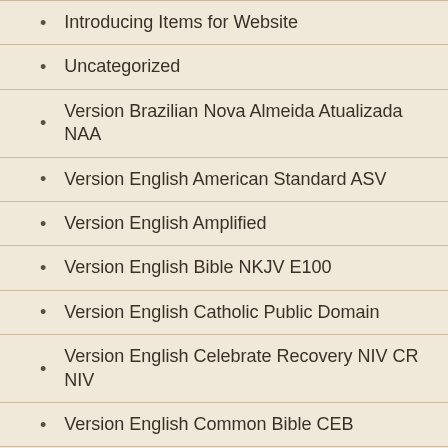Introducing Items for Website
Uncategorized
Version Brazilian Nova Almeida Atualizada NAA
Version English American Standard ASV
Version English Amplified
Version English Bible NKJV E100
Version English Catholic Public Domain
Version English Celebrate Recovery NIV CR NIV
Version English Common Bible CEB
Version English Complete Jewish Bible
Version English CSB Christian Standard Bible